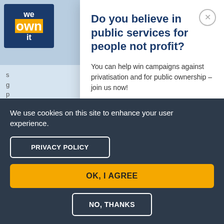[Figure (screenshot): We Own It logo - dark blue background with 'we', 'own' (in orange/yellow box), 'it' text in white]
Do you believe in public services for people not profit?
You can help win campaigns against privatisation and for public ownership – join us now!
First Name
Last Name
We use cookies on this site to enhance your user experience.
PRIVACY POLICY
OK, I AGREE
NO, THANKS